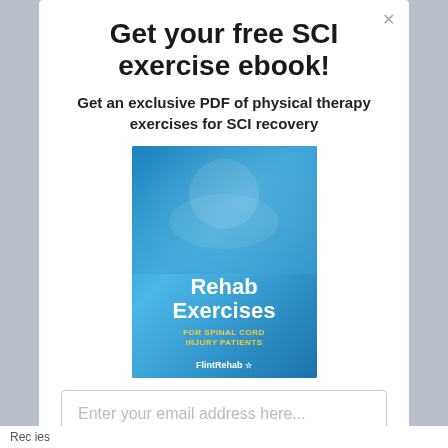Get your free SCI exercise ebook!
Get an exclusive PDF of physical therapy exercises for SCI recovery
[Figure (illustration): Book cover for 'Rehab Exercises for Spinal Cord Injury Patients' by FlintRehab, blue background with silhouette of people]
Enter your email address here...
Yes! Send Me The FREE PDF
Rec... ies